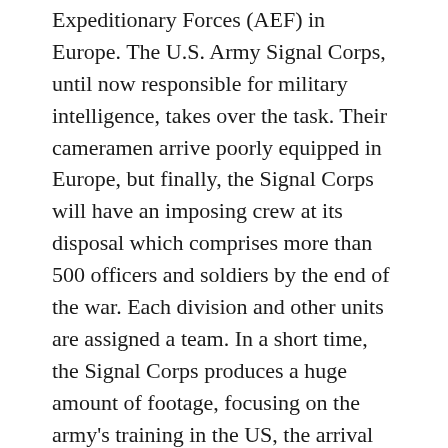Expeditionary Forces (AEF) in Europe. The U.S. Army Signal Corps, until now responsible for military intelligence, takes over the task. Their cameramen arrive poorly equipped in Europe, but finally, the Signal Corps will have an imposing crew at its disposal which comprises more than 500 officers and soldiers by the end of the war. Each division and other units are assigned a team. In a short time, the Signal Corps produces a huge amount of footage, focusing on the army's training in the US, the arrival of troops at French harbors and on front-line operations. As their European counterparts, America's film operators rarely come up with spectacular shots from the front. This can clearly be observed by watching documentaries on two of the US Army's most important missions, The St. Mihiel Offensive, and the Meuse-Argonne Offensive. For readers who want to know more about the subject, an exciting insight into the work of the Signal Corps is provided by Graham C. Cooper and Ron van Dopperen's documentary Mobilizing Movies! The U.S.